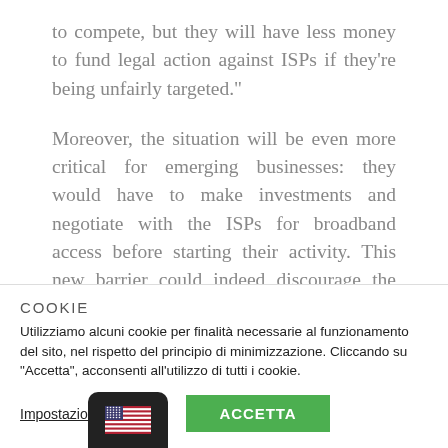to compete, but they will have less money to fund legal action against ISPs if they're being unfairly targeted."
Moreover, the situation will be even more critical for emerging businesses: they would have to make investments and negotiate with the ISPs for broadband access before starting their activity. This new barrier could indeed discourage the 'next Google' to start its business and it could entail serious
COOKIE
Utilizziamo alcuni cookie per finalità necessarie al funzionamento del sito, nel rispetto del principio di minimizzazione. Cliccando su "Accetta", acconsenti all'utilizzo di tutti i cookie.
Impostazioni dei cookie
ACCETTA